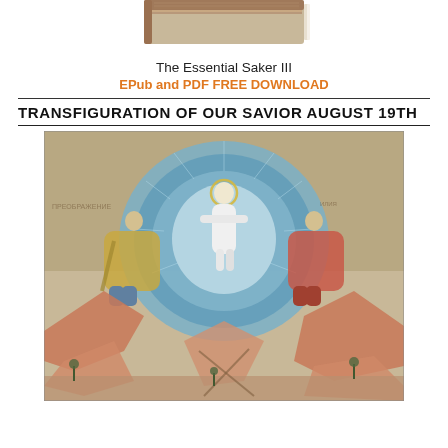[Figure (photo): Partial view of a book cover for 'The Essential Saker III', showing a book with wooden texture visible at the top.]
The Essential Saker III
EPub and PDF FREE DOWNLOAD
TRANSFIGURATION OF OUR SAVIOR AUGUST 19TH
[Figure (photo): Russian Orthodox icon depicting the Transfiguration of Christ. Christ stands in white in the center within a circular mandorla, flanked by two figures (prophets) on rocky terrain. The icon has a traditional Byzantine style with muted colors.]